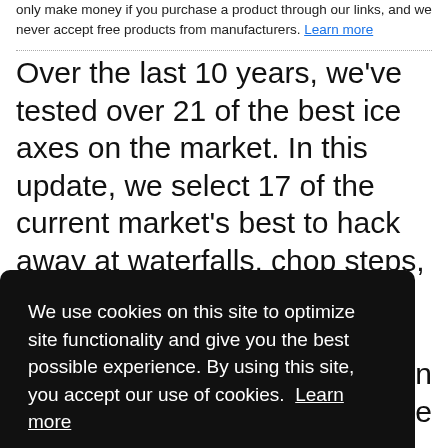only make money if you purchase a product through our links, and we never accept free products from manufacturers. Learn more
Over the last 10 years, we've tested over 21 of the best ice axes on the market. In this update, we select 17 of the current market's best to hack away at waterfalls, chop steps, and practice our self-arrest techniques. We look at both straight and curve shaft options with a wide variety of uses, including
We use cookies on this site to optimize site functionality and give you the best possible experience. By using this site, you accept our use of cookies. Learn more
ntain
hile
conclusions are designed to help you find